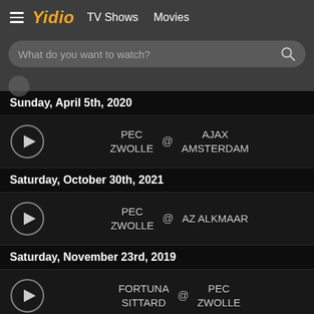Yidio  TV Shows  Movies
What do you want to watch?
Sunday, April 5th, 2020
PEC ZWOLLE @ AJAX AMSTERDAM
Saturday, October 30th, 2021
PEC ZWOLLE @ AZ ALKMAAR
Saturday, November 23rd, 2019
FORTUNA SITTARD @ PEC ZWOLLE